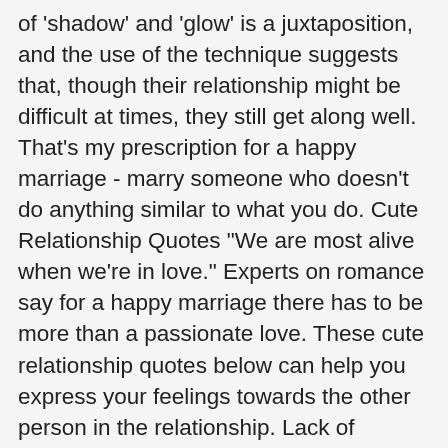of 'shadow' and 'glow' is a juxtaposition, and the use of the technique suggests that, though their relationship might be difficult at times, they still get along well. That's my prescription for a happy marriage - marry someone who doesn't do anything similar to what you do. Cute Relationship Quotes "We are most alive when we're in love." Experts on romance say for a happy marriage there has to be more than a passionate love. These cute relationship quotes below can help you express your feelings towards the other person in the relationship. Lack of communication can definitely harm a relationship and without proper and effective communication, the mojo in a relationship starts to fade away. Love is no assignment for cowards. Recent Top. The one with whom we can share our problems, someone on … Quotes. Love can make up for a lot. Life Quotes. You never know if these quotes might apply to you and your current relationship. But I think the main prerequisite would have to be respect. But actually, struggles and difficult times are part of it. Despair - or as I like to call it, des-pair - means feeling unpaired in a world in which full illusory paired in the basis of